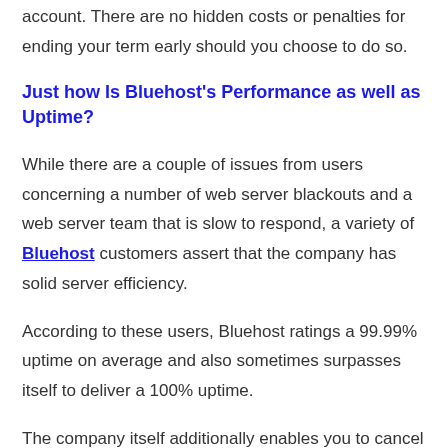account. There are no hidden costs or penalties for ending your term early should you choose to do so.
Just how Is Bluehost's Performance as well as Uptime?
While there are a couple of issues from users concerning a number of web server blackouts and a web server team that is slow to respond, a variety of Bluehost customers assert that the company has solid server efficiency.
According to these users, Bluehost ratings a 99.99% uptime on average and also sometimes surpasses itself to deliver a 100% uptime.
The company itself additionally enables you to cancel your organizing arrangements because of downtime without needing to pay any kind of termination costs.
Our examinations show that last year Bluehost had a typical